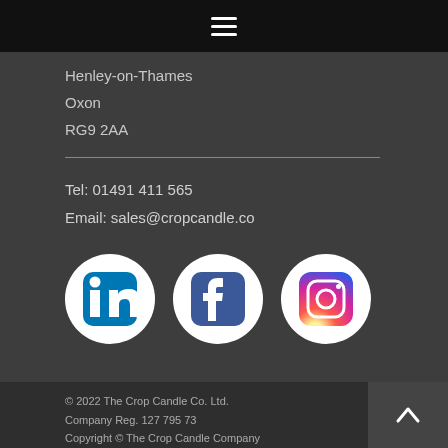[Figure (other): Hamburger menu icon (three horizontal white lines on black background)]
Henley-on-Thames
Oxon
RG9 2AA
Tel: 01491 411 565
Email: sales@cropcandle.co
[Figure (other): Three social media icons: LinkedIn, Facebook, Instagram]
© 2022 The Crop Candle Co. Ltd.
Company Reg. 127 795 73
Copyright © The Crop Candle Company